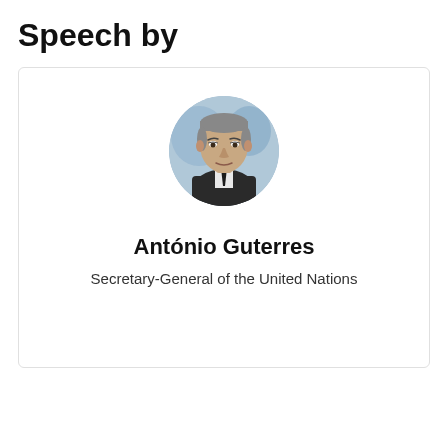Speech by
[Figure (photo): Circular profile photo of António Guterres, Secretary-General of the United Nations, wearing a dark suit against a light blue background]
António Guterres
Secretary-General of the United Nations